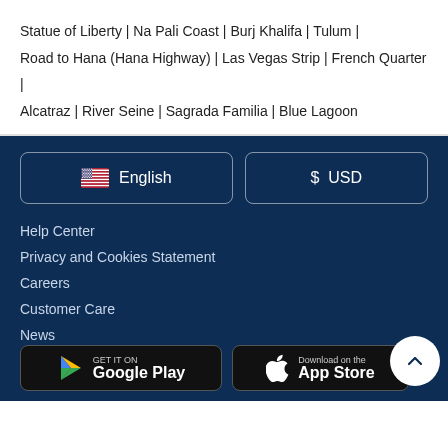Statue of Liberty | Na Pali Coast | Burj Khalifa | Tulum | Road to Hana (Hana Highway) | Las Vegas Strip | French Quarter | Alcatraz | River Seine | Sagrada Familia | Blue Lagoon
English (language selector button)
$ USD (currency selector button)
Help Center
Privacy and Cookies Statement
Careers
Customer Care
News
Viator blog
[Figure (logo): Google Play download button]
[Figure (logo): Apple App Store download button]